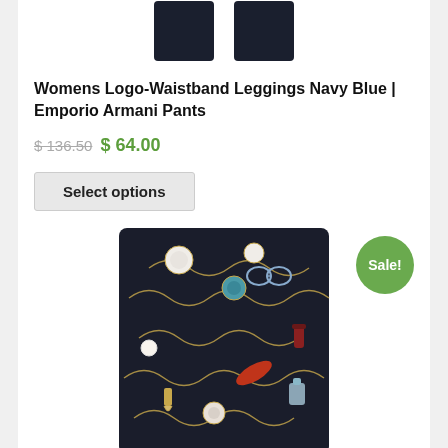[Figure (photo): Top portion of navy blue leggings product image, cropped at top]
Womens Logo-Waistband Leggings Navy Blue | Emporio Armani Pants
$ 136.50 $ 64.00
Select options
[Figure (photo): Dark navy patterned wide-leg pants/culottes with decorative chain and accessory print motif, with Sale! badge]
Sale!